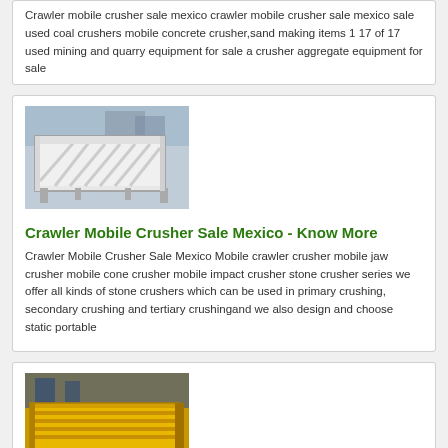Crawler mobile crusher sale mexico crawler mobile crusher sale mexico sale used coal crushers mobile concrete crusher,sand making items 1 17 of 17 used mining and quarry equipment for sale a crusher aggregate equipment for sale
[Figure (photo): Photo of a white/grey mobile crusher conveyor machine viewed from above at an angle, industrial equipment]
Crawler Mobile Crusher Sale Mexico - Know More
Crawler Mobile Crusher Sale Mexico Mobile crawler crusher mobile jaw crusher mobile cone crusher mobile impact crusher stone crusher series we offer all kinds of stone crushers which can be used in primary crushing, secondary crushing and tertiary crushingand we also design and choose static portable
[Figure (photo): Photo of a yellow mobile crusher/conveyor machine, industrial mining equipment viewed from side angle]